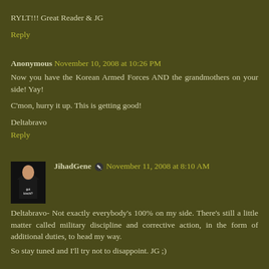RYLT!!! Great Reader & JG
Reply
Anonymous November 10, 2008 at 10:26 PM
Now you have the Korean Armed Forces AND the grandmothers on your side! Yay!
C'mon, hurry it up. This is getting good!
Deltabravo
Reply
JihadGene November 11, 2008 at 8:10 AM
Deltabravo- Not exactly everybody's 100% on my side. There's still a little matter called military discipline and corrective action, in the form of additional duties, to head my way.
So stay tuned and I'll try not to disappoint. JG ;)